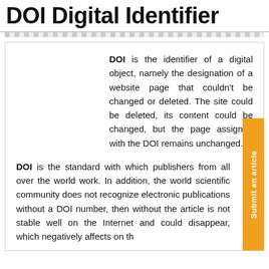DOI Digital Identifier
DOI is the identifier of a digital object, namely the designation of a website page that couldn't be changed or deleted. The site could be deleted, its content could be changed, but the page assigned with the DOI remains unchanged.
DOI is the standard with which publishers from all over the world work. In addition, the world scientific community does not recognize electronic publications without a DOI number, then without the article is not stable well on the Internet and could disappear, which negatively affects on th...